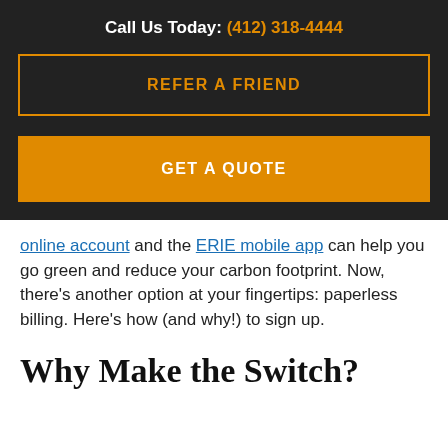Call Us Today: (412) 318-4444
REFER A FRIEND
GET A QUOTE
online account and the ERIE mobile app can help you go green and reduce your carbon footprint. Now, there's another option at your fingertips: paperless billing. Here's how (and why!) to sign up.
Why Make the Switch?